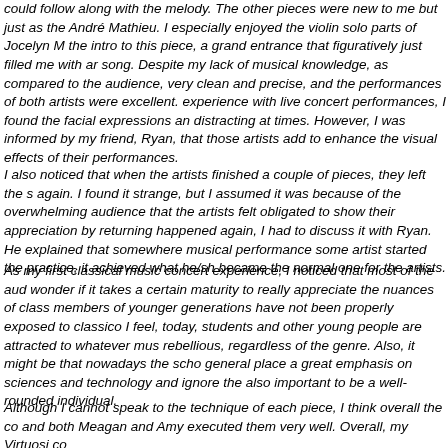could follow along with the melody. The other pieces were new to me but just as the André Mathieu. I especially enjoyed the violin solo parts of Jocelyn M the intro to this piece, a grand entrance that figuratively just filled me with a song. Despite my lack of musical knowledge, as compared to the audience, very clean and precise, and the performances of both artists were excellent. experience with live concert performances, I found the facial expressions an distracting at times. However, I was informed by my friend, Ryan, that those artists add to enhance the visual effects of their performances.
I also noticed that when the artists finished a couple of pieces, they left the s again. I found it strange, but I assumed it was because of the overwhelming audience that the artists felt obligated to show their appreciation by returning happened again, I had to discuss it with Ryan. He explained that somewhere musical performance some artist started the practice, it achieved what he/sh became the normal one for the artists.
As my first classical music concert experience, I noticed that most of the aud wonder if it takes a certain maturity to really appreciate the nuances of class members of younger generations have not been properly exposed to classico I feel, today, students and other young people are attracted to whatever mus rebellious, regardless of the genre. Also, it might be that nowadays the scho general place a great emphasis on sciences and technology and ignore the also important to be a well-rounded individual.
Although I cannot speak to the technique of each piece, I think overall the co and both Meagan and Amy executed them very well. Overall, my Virtuosi co